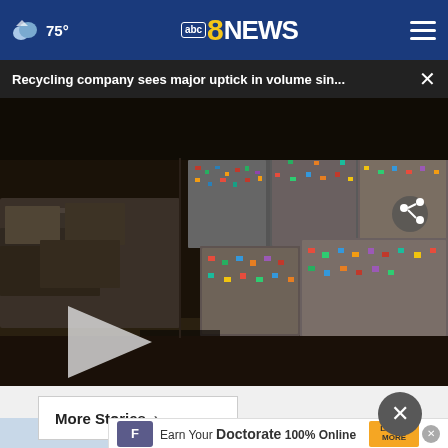abc8NEWS  75°
Recycling company sees major uptick in volume sin...
[Figure (photo): Warehouse filled with large bales of crushed and compressed aluminum cans and recyclable materials stacked in rows, with a video play button overlay and share icon]
More Stories ›
Earn Your Doctorate 100% Online - Franklin University advertisement